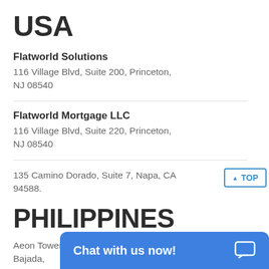USA
Flatworld Solutions
116 Village Blvd, Suite 200, Princeton, NJ 08540
Flatworld Mortgage LLC
116 Village Blvd, Suite 220, Princeton, NJ 08540
135 Camino Dorado, Suite 7, Napa, CA 94588.
PHILIPPINES
Aeon Towers, J.P. Laurel Avenue, Bajada,
Davao 8000
Chat with us now!